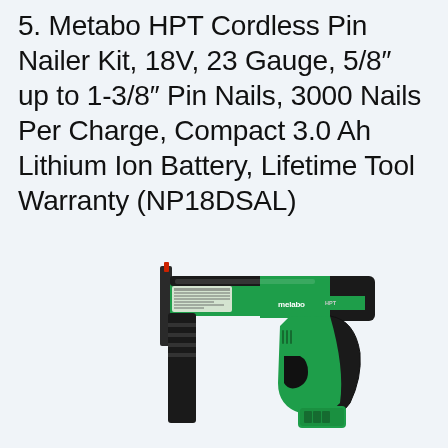5. Metabo HPT Cordless Pin Nailer Kit, 18V, 23 Gauge, 5/8″ up to 1-3/8″ Pin Nails, 3000 Nails Per Charge, Compact 3.0 Ah Lithium Ion Battery, Lifetime Tool Warranty (NP18DSAL)
[Figure (photo): A Metabo HPT cordless pin nailer tool, green and black color, showing the nailer gun from the side with the brand logo 'melabo HPT' visible on the body.]